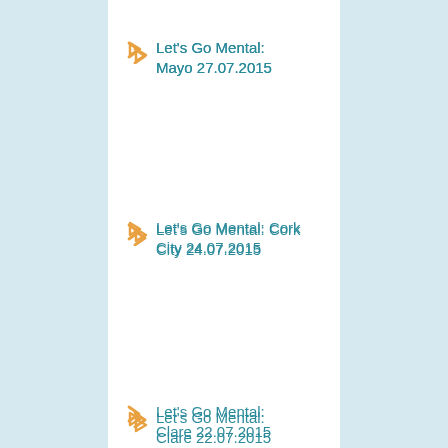Let's Go Mental: Mayo 27.07.2015
Let's Go Mental: Cork City 24.07.2015
Let's Go Mental: Clare 22.07.2015
Let's Go Mental: Wexford 18.07.2015
Let's Go Mental: Laois 12.07.2015
Let's Go Mental: Galway City: 6th July